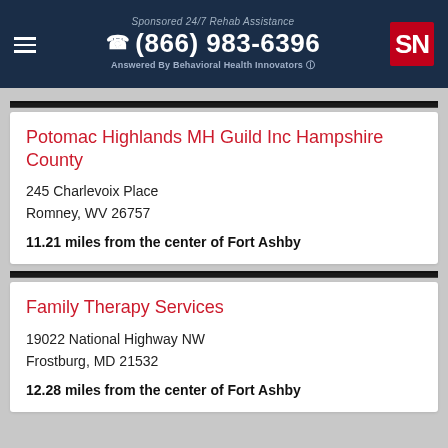Sponsored 24/7 Rehab Assistance (866) 983-6396 Answered By Behavioral Health Innovators
Potomac Highlands MH Guild Inc Hampshire County
245 Charlevoix Place
Romney, WV 26757
11.21 miles from the center of Fort Ashby
Family Therapy Services
19022 National Highway NW
Frostburg, MD 21532
12.28 miles from the center of Fort Ashby